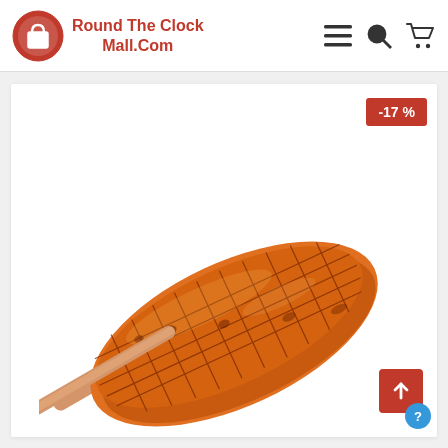Round The Clock Mall.Com
-17 %
[Figure (photo): Grilled unagi (eel) on a skewer, glazed with teriyaki sauce, shown on a white background. The eel fillet is scored in a grid pattern and has a rich orange-brown glaze.]